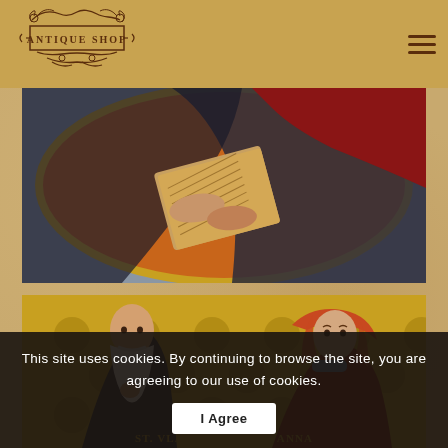[Figure (logo): Antique Shop decorative logo with ornamental scrollwork]
[Figure (photo): Close-up of a religious icon showing hands holding a book/scripture, with red and dark blue robes, gold circular frame]
[Figure (photo): Religious icon painting of St. Vladimir (elderly bearded man) and St. Anna (woman in red/orange headscarf), against gold patterned background]
This site uses cookies. By continuing to browse the site, you are agreeing to our use of cookies.
I Agree